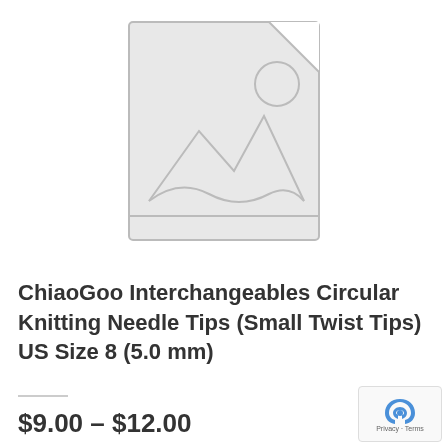[Figure (illustration): Placeholder image icon showing a landscape with mountains and sun outline on a light gray background]
ChiaoGoo Interchangeables Circular Knitting Needle Tips (Small Twist Tips) US Size 8 (5.0 mm)
$9.00 – $12.00